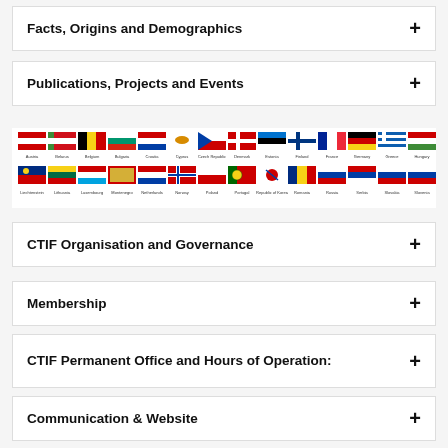Facts, Origins and Demographics
Publications, Projects and Events
[Figure (illustration): Two rows of country flags representing CTIF member nations, with country names below each flag.]
CTIF Organisation and Governance
Membership
CTIF Permanent Office and Hours of Operation:
Communication & Website
Special CTIF Awards